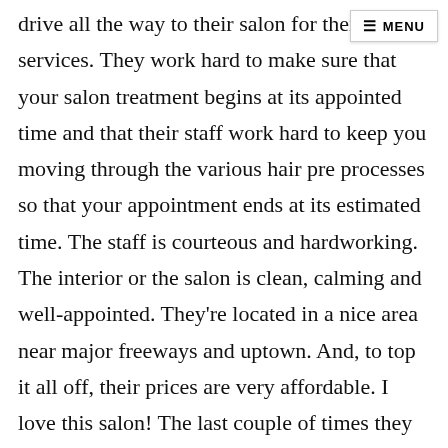≡ MENU
drive all the way to their salon for their services. They work hard to make sure that your salon treatment begins at its appointed time and that their staff work hard to keep you moving through the various hair pre processes so that your appointment ends at its estimated time. The staff is courteous and hardworking. The interior or the salon is clean, calming and well-appointed. They're located in a nice area near major freeways and uptown. And, to top it all off, their prices are very affordable. I love this salon! The last couple of times they were packed! That says a lot about their business given the state of the economy. You won't be disappointed! -Anonymous